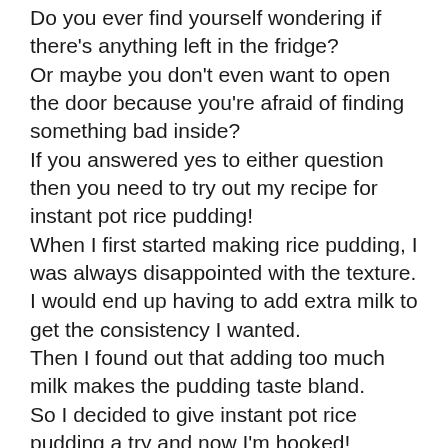Do you ever find yourself wondering if there's anything left in the fridge? Or maybe you don't even want to open the door because you're afraid of finding something bad inside? If you answered yes to either question then you need to try out my recipe for instant pot rice pudding! When I first started making rice pudding, I was always disappointed with the texture. I would end up having to add extra milk to get the consistency I wanted. Then I found out that adding too much milk makes the pudding taste bland. So I decided to give instant pot rice pudding a try and now I'm hooked! This recipe has been tested and approved by me